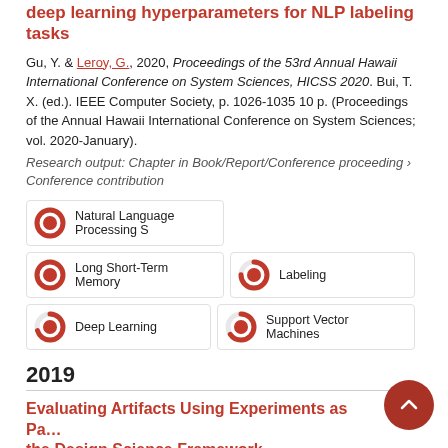deep learning hyperparameters for NLP labeling tasks
Gu, Y. & Leroy, G., 2020, Proceedings of the 53rd Annual Hawaii International Conference on System Sciences, HICSS 2020. Bui, T. X. (ed.). IEEE Computer Society, p. 1026-1035 10 p. (Proceedings of the Annual Hawaii International Conference on System Sciences; vol. 2020-January).
Research output: Chapter in Book/Report/Conference proceeding › Conference contribution
[Figure (infographic): Five fingerprint badges showing research topic percentages: Natural Language Processing S (100%), Long Short-Term Memory (100%), Labeling (75%), Deep Learning (70%), Support Vector Machines (65%)]
2019
Evaluating Artifacts Using Experiments as Pa... the Design Science Framework
Gu, Y. 2019, Proceedings RCIS 2019 : IEEE 13th...